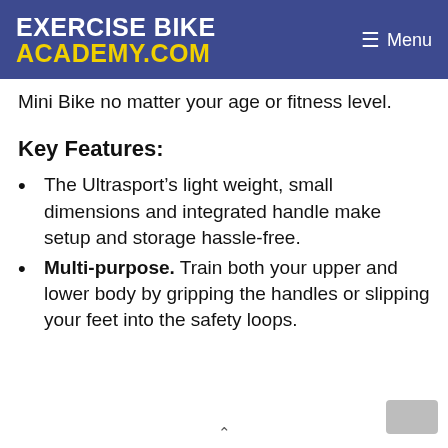EXERCISE BIKE ACADEMY.COM  Menu
Mini Bike no matter your age or fitness level.
Key Features:
The Ultrasport’s light weight, small dimensions and integrated handle make setup and storage hassle-free.
Multi-purpose. Train both your upper and lower body by gripping the handles or slipping your feet into the safety loops.